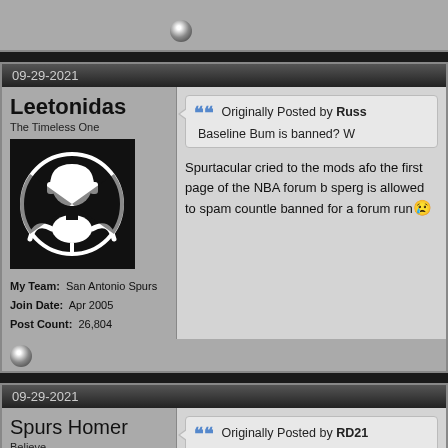[Figure (screenshot): Forum post top partial showing a bullet/sphere icon at bottom]
09-29-2021
Leetonidas
The Timeless One
[Figure (photo): Avatar: white icon of a person/headphones on black background]
My Team: San Antonio Spurs
Join Date: Apr 2005
Post Count: 26,804
Originally Posted by Russ
Baseline Bum is banned? W
Spurtacular cried to the mods after the first page of the NBA forum b sperg is allowed to spam countle banned for a forum run😢
09-29-2021
Spurs Homer
Believe.
My Team: San Antonio Spurs
Join Date: Aug 2018
Originally Posted by RD21
or I leave this site for good.